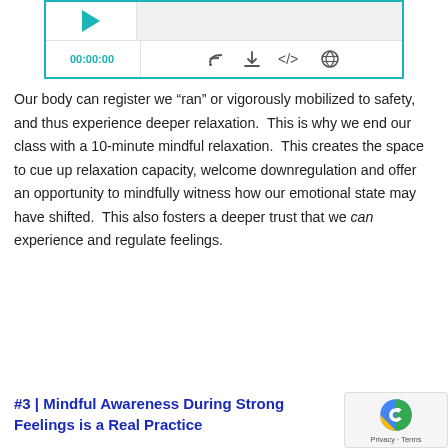[Figure (screenshot): Audio player widget with teal border, play button, waveform area, timestamp 00:00:00, and icons for RSS, download, embed, and share]
Our body can register we “ran” or vigorously mobilized to safety, and thus experience deeper relaxation.  This is why we end our class with a 10-minute mindful relaxation.  This creates the space to cue up relaxation capacity, welcome downregulation and offer an opportunity to mindfully witness how our emotional state may have shifted.  This also fosters a deeper trust that we can experience and regulate feelings.
#3 | Mindful Awareness During Strong Feelings is a Real Practice